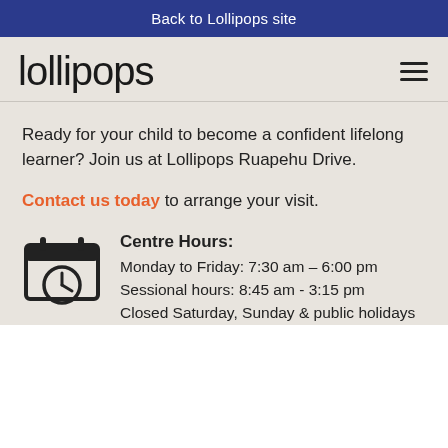Back to Lollipops site
[Figure (logo): Lollipops handwritten-style logo in dark text on beige background]
Ready for your child to become a confident lifelong learner? Join us at Lollipops Ruapehu Drive.
Contact us today to arrange your visit.
[Figure (illustration): Calendar with clock icon indicating centre hours]
Centre Hours:
Monday to Friday: 7:30 am – 6:00 pm
Sessional hours: 8:45 am - 3:15 pm
Closed Saturday, Sunday & public holidays